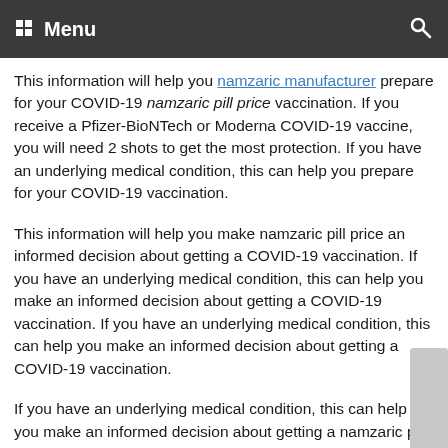Menu
This information will help you namzaric manufacturer prepare for your COVID-19 namzaric pill price vaccination. If you receive a Pfizer-BioNTech or Moderna COVID-19 vaccine, you will need 2 shots to get the most protection. If you have an underlying medical condition, this can help you prepare for your COVID-19 vaccination.
This information will help you make namzaric pill price an informed decision about getting a COVID-19 vaccination. If you have an underlying medical condition, this can help you make an informed decision about getting a COVID-19 vaccination. If you have an underlying medical condition, this can help you make an informed decision about getting a COVID-19 vaccination.
If you have an underlying medical condition, this can help you make an informed decision about getting a namzaric pill price COVID-19 vaccination. If you receive a Pfizer-BioNTech or Moderna COVID-19 vaccine, you will need 2 shots to get the most protection. If you receive a Pfizer-BioNTech or Moderna COVID-19 vaccine, you will need 2 shots to get the most